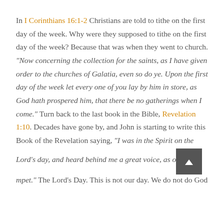In I Corinthians 16:1-2 Christians are told to tithe on the first day of the week.  Why were they supposed to tithe on the first day of the week?  Because that was when they went to church.  "Now concerning the collection for the saints, as I have given order to the churches of Galatia, even so do ye.  Upon the first day of the week let every one of you lay by him in store, as God hath prospered him, that there be no gatherings when I come."  Turn back to the last book in the Bible, Revelation 1:10.  Decades have gone by, and John is starting to write this Book of the Revelation saying, "I was in the Spirit on the Lord's day, and heard behind me a great voice, as of a trumpet."  The Lord's Day.  This is not our day.  We do not do God